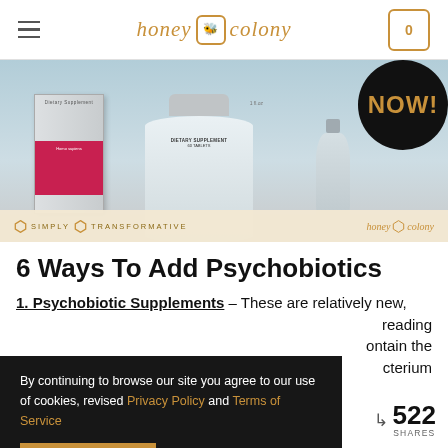honey colony [navigation bar with logo, hamburger menu, and cart showing 0]
[Figure (photo): Banner advertisement for HoneyColony dietary supplements showing product bottles and a black circle badge reading NOW!, with 'SIMPLY TRANSFORMATIVE' and 'honey colony' branding at the bottom]
6 Ways To Add Psychobiotics
1. Psychobiotic Supplements – These are relatively new, reading ontain the cterium
By continuing to browse our site you agree to our use of cookies, revised Privacy Policy and Terms of Service
ACCEPT
522 SHARES